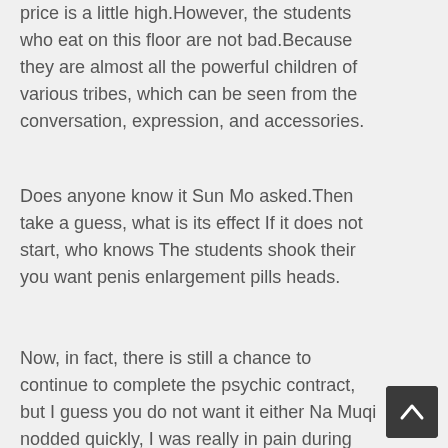price is a little high.However, the students who eat on this floor are not bad.Because they are almost all the powerful children of various tribes, which can be seen from the conversation, expression, and accessories.
Does anyone know it Sun Mo asked.Then take a guess, what is its effect If it does not start, who knows The students shook their you want penis enlargement pills heads.
Now, in fact, there is still a chance to continue to complete the psychic contract, but I guess you do not want it either Na Muqi nodded quickly, I was really in pain during this period of time, this kind of garbage cialis reddit Male Enhancement Pills Vs Viagra psychic